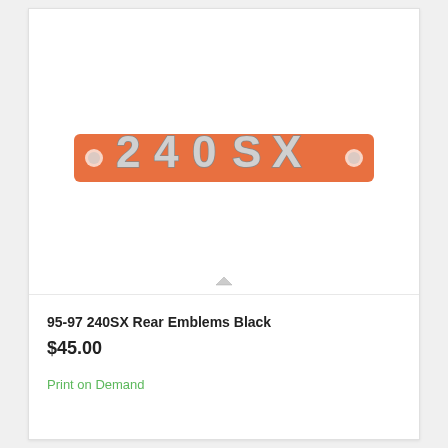[Figure (photo): 240SX chrome rear emblem on an orange backing card with mounting holes on each end]
95-97 240SX Rear Emblems Black
$45.00
Print on Demand